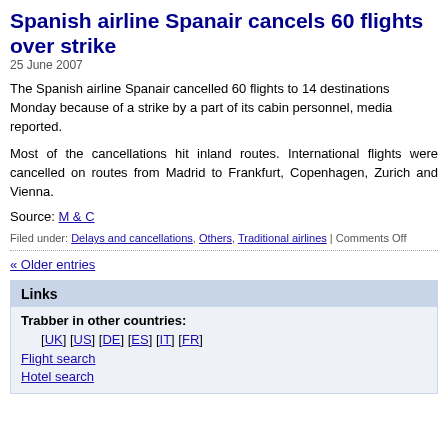Spanish airline Spanair cancels 60 flights over strike
25 June 2007
The Spanish airline Spanair cancelled 60 flights to 14 destinations Monday because of a strike by a part of its cabin personnel, media reported.
Most of the cancellations hit inland routes. International flights were cancelled on routes from Madrid to Frankfurt, Copenhagen, Zurich and Vienna.
Source: M & C
Filed under: Delays and cancellations, Others, Traditional airlines | Comments Off
« Older entries
Links
Trabber in other countries:
[UK] [US] [DE] [ES] [IT] [FR]
Flight search
Hotel search